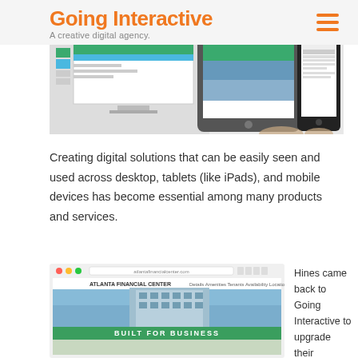Going Interactive — A creative digital agency.
[Figure (screenshot): Hero banner showing website mockups on desktop, tablet (iPad), and mobile (smartphone) devices]
Creating digital solutions that can be easily seen and used across desktop, tablets (like iPads), and mobile devices has become essential among many products and services.
[Figure (screenshot): Screenshot of Atlanta Financial Center website with 'Built for Business' banner]
Hines came back to Going Interactive to upgrade their